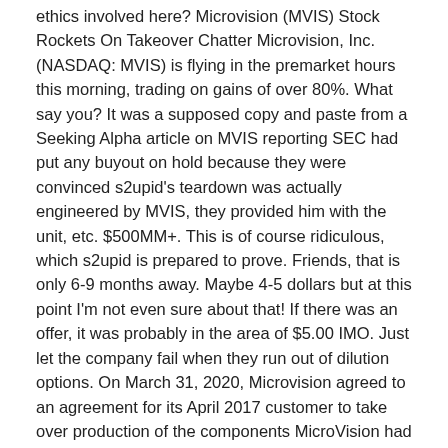ethics involved here? Microvision (MVIS) Stock Rockets On Takeover Chatter Microvision, Inc. (NASDAQ: MVIS) is flying in the premarket hours this morning, trading on gains of over 80%. What say you? It was a supposed copy and paste from a Seeking Alpha article on MVIS reporting SEC had put any buyout on hold because they were convinced s2upid's teardown was actually engineered by MVIS, they provided him with the unit, etc. $500MM+. This is of course ridiculous, which s2upid is prepared to prove. Friends, that is only 6-9 months away. Maybe 4-5 dollars but at this point I'm not even sure about that! If there was an offer, it was probably in the area of $5.00 IMO. Just let the company fail when they run out of dilution options. On March 31, 2020, Microvision agreed to an agreement for its April 2017 customer to take over production of the components MicroVision had been producing for the customer. Beginning in March MicroVision started earning a royalty on each component shipped that was approximately ... I would say, if it were to happen within this year and before multiple revenue streams, maybe $8.00-10.00 a share. However, by early 2019, if multiple Tier 1's are onboard the price goes up by some multiple of $10.00 per...